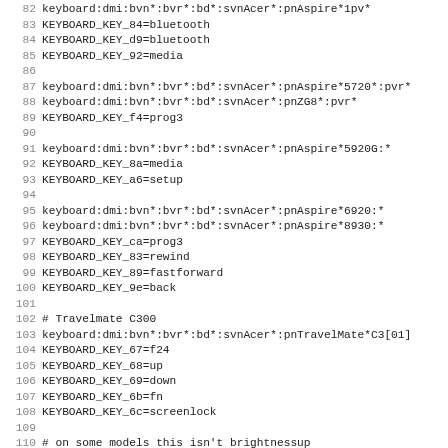Code listing lines 82-114 showing keyboard DMI key mappings for Acer devices
83  KEYBOARD_KEY_84=bluetooth
84  KEYBOARD_KEY_d9=bluetooth
85  KEYBOARD_KEY_92=media
87 keyboard:dmi:bvn*:bvr*:bd*:svnAcer*:pnAspire*5720*:pvr*
88 keyboard:dmi:bvn*:bvr*:bd*:svnAcer*:pnZG8*:pvr*
89  KEYBOARD_KEY_f4=prog3
91 keyboard:dmi:bvn*:bvr*:bd*:svnAcer*:pnAspire*5920G:*
92  KEYBOARD_KEY_8a=media
93  KEYBOARD_KEY_a6=setup
95 keyboard:dmi:bvn*:bvr*:bd*:svnAcer*:pnAspire*6920:*
96 keyboard:dmi:bvn*:bvr*:bd*:svnAcer*:pnAspire*8930:*
97  KEYBOARD_KEY_ca=prog3
98  KEYBOARD_KEY_83=rewind
99  KEYBOARD_KEY_89=fastforward
100  KEYBOARD_KEY_9e=back
102 # Travelmate C300
103 keyboard:dmi:bvn*:bvr*:bd*:svnAcer*:pnTravelMate*C3[01]
104  KEYBOARD_KEY_67=f24
105  KEYBOARD_KEY_68=up
106  KEYBOARD_KEY_69=down
107  KEYBOARD_KEY_6b=fn
108  KEYBOARD_KEY_6c=screenlock
110 # on some models this isn't brightnessup
111 keyboard:dmi:bvn*:bvr*:bd*:svnAcer*:pn*5210*:pvr*
112 keyboard:dmi:bvn*:bvr*:bd*:svnAcer*:pn*5220*:pvr*
113 keyboard:dmi:bvn*:bvr*:bd*:svnAcer*:pn*5610*:pvr*
114 keyboard:dmi:bvn*:bvr*:bd*:svnAcer*:pn*5620*:pvr*